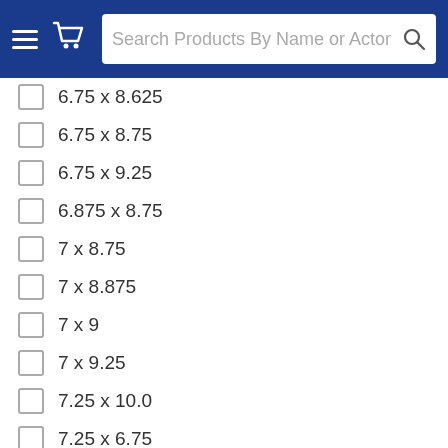Search Products By Name or Actor
6.75 x 8.625
6.75 x 8.75
6.75 x 9.25
6.875 x 8.75
7 x 8.75
7 x 8.875
7 x 9
7 x 9.25
7.25 x 10.0
7.25 x 6.75
7.25 x 9.50
7.375 x 9.25
7.5 x 7.5
7.5 x 9.375
8 x 10
8 x 10.75